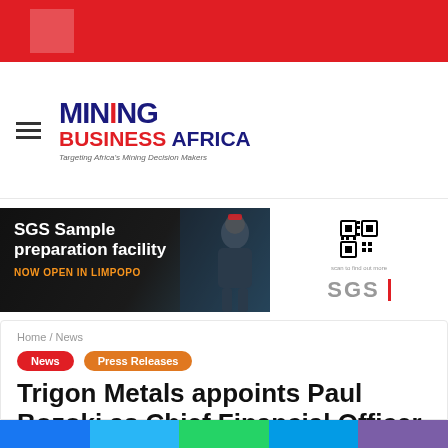[Figure (logo): Mining Business Africa logo with tagline 'Targeting Africa's Mining Decision Makers']
[Figure (photo): SGS Sample preparation facility advertisement banner — NOW OPEN IN LIMPOPO, with miner image and SGS logo/QR code]
Home / News
News   Press Releases
Trigon Metals appoints Paul Bozoki as Chief Financial Officer